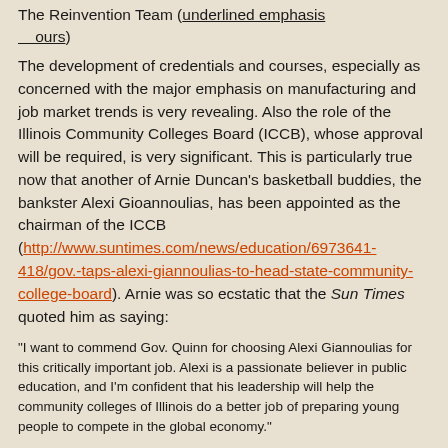The Reinvention Team (underlined emphasis ours)
The development of credentials and courses, especially as concerned with the major emphasis on manufacturing and job market trends is very revealing. Also the role of the Illinois Community Colleges Board (ICCB), whose approval will be required, is very significant. This is particularly true now that another of Arnie Duncan's basketball buddies, the bankster Alexi Gioannoulias, has been appointed as the chairman of the ICCB (http://www.suntimes.com/news/education/6973641-418/gov.-taps-alexi-giannoulias-to-head-state-community-college-board). Arnie was so ecstatic that the Sun Times quoted him as saying:
“I want to commend Gov. Quinn for choosing Alexi Giannoulias for this critically important job. Alexi is a passionate believer in public education, and I’m confident that his leadership will help the community colleges of Illinois do a better job of preparing young people to compete in the global economy.”
As you may remember, PEARL reported back on March 31st that Giannoulias was being considered by Emanuel to